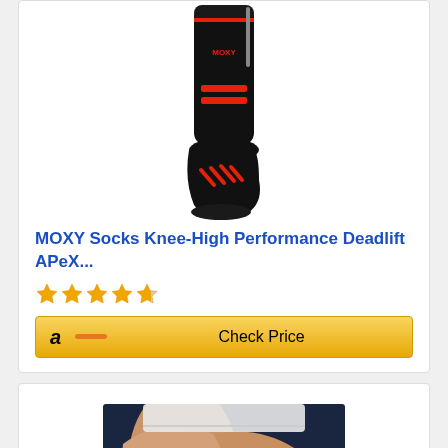[Figure (photo): Black and red MOXY knee-high compression/deadlift sock on white background]
MOXY Socks Knee-High Performance Deadlift APeX...
[Figure (other): Star rating showing approximately 4 out of 5 stars]
[Figure (other): Amazon Check Price button with Amazon logo]
[Figure (photo): Close-up photo of legs/knees wearing compression socks during workout, dark blue background]